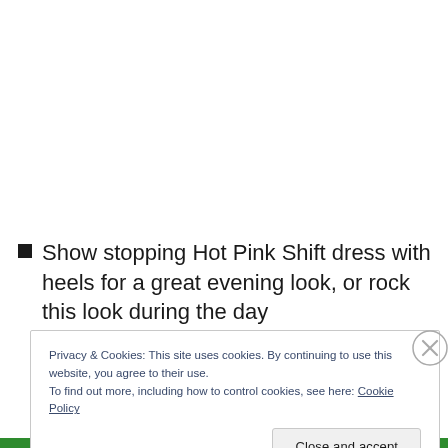Show stopping Hot Pink Shift dress with heels for a great evening look, or rock this look during the day
Privacy & Cookies: This site uses cookies. By continuing to use this website, you agree to their use.
To find out more, including how to control cookies, see here: Cookie Policy
Close and accept